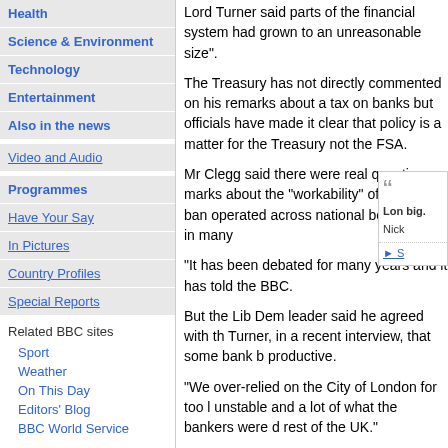Health
Science & Environment
Technology
Entertainment
Also in the news
Video and Audio
Programmes
Have Your Say
In Pictures
Country Profiles
Special Reports
Related BBC sites
Sport
Weather
On This Day
Editors' Blog
BBC World Service
Lord Turner said parts of the financial system had grown to an unreasonable size".
The Treasury has not directly commented on his remarks about a tax on banks but officials have made it clear that policy is a matter for the Treasury not the FSA.
[Figure (other): Quote box with quotation mark, text about London being too big, attributed to Nick, with a See also link]
Mr Clegg said there were real questions marks about the "workability" of a UK-only bank tax as banks operated across national borders and in many currencies.
"It has been debated for many years and it hasn't happened," he told the BBC.
But the Lib Dem leader said he agreed with the assessment of Lord Turner, in a recent interview, that some bank business was not economically productive.
"We over-relied on the City of London for too long. It made us unstable and a lot of what the bankers were doing was no good for the rest of the UK."
James Bevan from CCLA Investment Management said Lord Turner might be trying to sound tough on the City for political reasons.